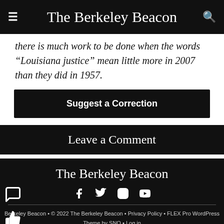The Berkeley Beacon
there is much work to be done when the words “Louisiana justice” mean little more in 2007 than they did in 1957.
Suggest a Correction
Leave a Comment
The Berkeley Beacon
Berkeley Beacon • © 2022 The Berkeley Beacon • Privacy Policy • FLEX Pro WordPress Theme by SNO • Log in